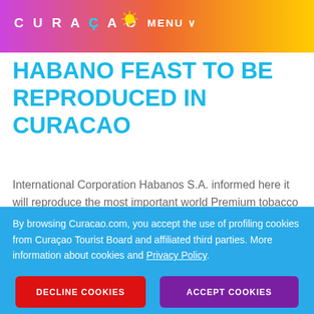CURACAO  MENU
HABANO FEAST TO BE REPRODUCED IN CURACAO
International Corporation Habanos S.A. informed here it will reproduce the most important world Premium tobacco meeting, the Habano Festival, in the island of Curazao. A communiqué released this Wednesday, that Curaçao Dushi Island, recognized for...
Read More ›
By browsing Curacao.com, you accept the use of profiling cookies from Curaçao Tourist Board and affiliated third parties. More information about cookies and Privacy Policy.
DECLINE COOKIES
ACCEPT COOKIES